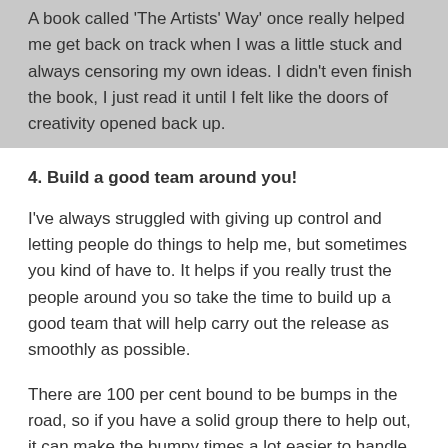A book called 'The Artists' Way' once really helped me get back on track when I was a little stuck and always censoring my own ideas. I didn't even finish the book, I just read it until I felt like the doors of creativity opened back up.
4. Build a good team around you!
I've always struggled with giving up control and letting people do things to help me, but sometimes you kind of have to. It helps if you really trust the people around you so take the time to build up a good team that will help carry out the release as smoothly as possible.
There are 100 per cent bound to be bumps in the road, so if you have a solid group there to help out, it can make the bumpy times a lot easier to handle. Manager, record label, publisher, booking agent (to plan a tour perhaps), PR company to service your songs and get some press – there are a lot of people that can help!